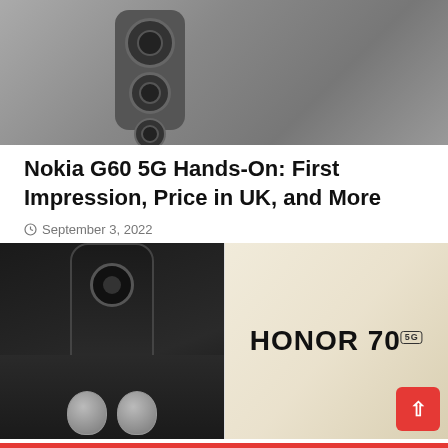[Figure (photo): Close-up of the back of a Nokia G60 5G smartphone showing triple camera module on grey body]
Nokia G60 5G Hands-On: First Impression, Price in UK, and More
September 3, 2022
[Figure (photo): Composite image with Honor 70 5G smartphone on right side with white feather background, and black smartphone with round camera on left alongside silver wireless earbuds at bottom]